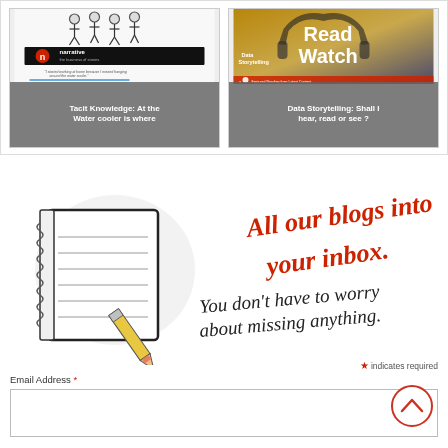[Figure (illustration): Two blog post card thumbnails side by side. Left card: Narrative magazine style cover with illustrated figures and text 'narrative the business of stories' with caption about water cooler. Right card: Read/Watch themed card with headphones imagery and 'Data Storytelling' text.]
Tacit Knowledge: At the Water cooler is where
Data Storytelling: Shall I hear, read or see ?
[Figure (illustration): Newsletter signup section with a hand-drawn notebook and pencil illustration on the left, and handwritten-style red script text reading 'All our blogs into your inbox.' and black script 'You don't have to worry about missing anything.']
* indicates required
Email Address *